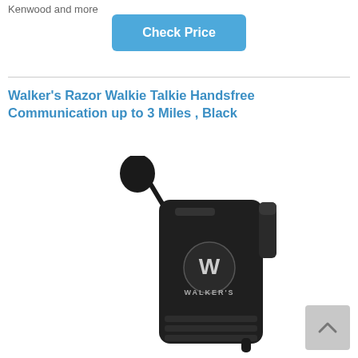Kenwood and more
Check Price
Walker's Razor Walkie Talkie Handsfree Communication up to 3 Miles , Black
[Figure (photo): Black Walker's Razor walkie talkie device with a boom microphone attached, showing the Walker's logo on the front, set against a white background.]